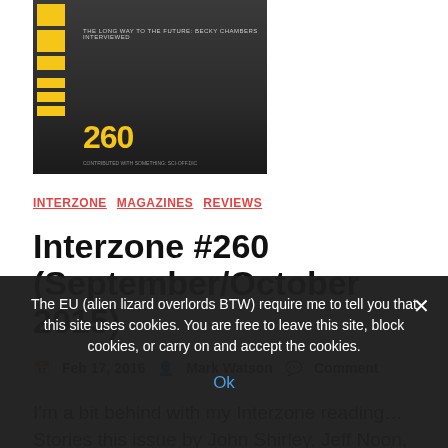[Figure (illustration): Magazine cover for Interzone #260 with yellow vertical bars on left, dark background with illustrated figures, and large yellow '260' number at bottom]
INTERZONE   MAGAZINES   REVIEWS
Interzone #260 (September/October 2015)
Feb 17, 2016   Mark Watson   Comment
I'm a bit behind with my Interzone reading… Stories this issue by John Shirley, Jeff Noon, Priya Sharma, C.A.
The EU (alien lizard overlords BTW) require me to tell you that this site uses cookies. You are free to leave this site, block cookies, or carry on and accept the cookies.
Ok